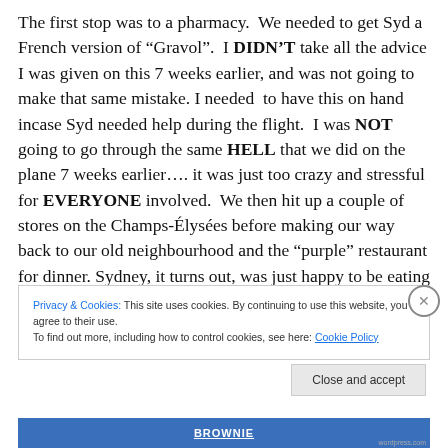The first stop was to a pharmacy.  We needed to get Syd a French version of “Gravol”.  I DIDN’T take all the advice I was given on this 7 weeks earlier, and was not going to make that same mistake. I needed  to have this on hand incase Syd needed help during the flight.  I was NOT going to go through the same HELL that we did on the plane 7 weeks earlier…. it was just too crazy and stressful for EVERYONE involved.  We then hit up a couple of stores on the Champs-Élysées before making our way back to our old neighbourhood and the “purple” restaurant for dinner. Sydney, it turns out, was just happy to be eating
Privacy & Cookies: This site uses cookies. By continuing to use this website, you agree to their use.
To find out more, including how to control cookies, see here: Cookie Policy
Close and accept